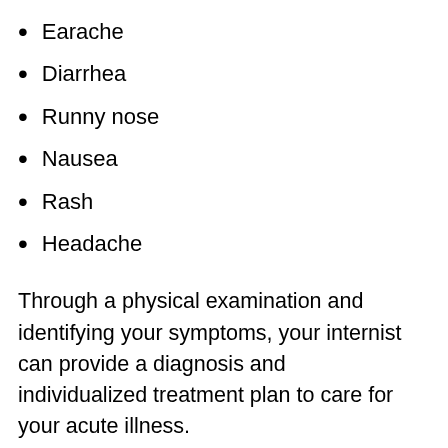Earache
Diarrhea
Runny nose
Nausea
Rash
Headache
Through a physical examination and identifying your symptoms, your internist can provide a diagnosis and individualized treatment plan to care for your acute illness.
Serious Acute Illnesses
Many acute diseases can be self-limiting and may go away on their own, or can be treated with a simple course of antibiotics or other prescription medications. There are some acute diseases, however, that come on suddenly